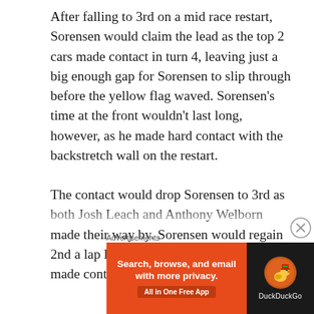After falling to 3rd on a mid race restart, Sorensen would claim the lead as the top 2 cars made contact in turn 4, leaving just a big enough gap for Sorensen to slip through before the yellow flag waved. Sorensen's time at the front wouldn't last long, however, as he made hard contact with the backstretch wall on the restart.
The contact would drop Sorensen to 3rd as both Josh Leach and Anthony Welborn made their way by. Sorensen would regain 2nd a lap later when Welborn and Leach made contact in turn 1, sending Welborn...
Advertisements
[Figure (other): DuckDuckGo advertisement banner: orange section with text 'Search, browse, and email with more privacy.' and 'All in One Free App', dark section with DuckDuckGo duck logo and 'DuckDuckGo' text.]